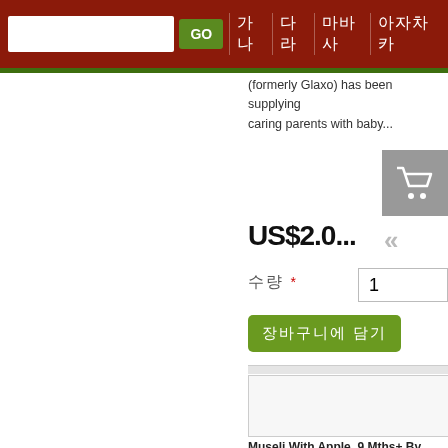GO [nav items in CJK characters]
(formerly Glaxo) has been supplying caring parents with baby...
US$2.0...
수량 * 1
장바구니에 담기 (CJK button text)
[Figure (screenshot): Product image placeholder box]
Museli With Apple, 9 Mths+ By...